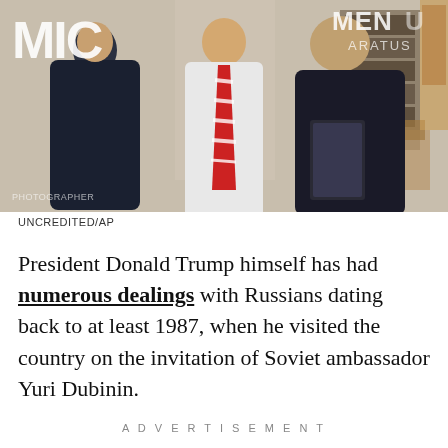[Figure (photo): Three men in suits standing in what appears to be the Oval Office. A man in a striped tie stands in the center. The MIC logo is visible in the top left corner and partial text 'MENU' and 'ARATUS' appear in the top right.]
UNCREDITED/AP
President Donald Trump himself has had numerous dealings with Russians dating back to at least 1987, when he visited the country on the invitation of Soviet ambassador Yuri Dubinin.
ADVERTISEMENT